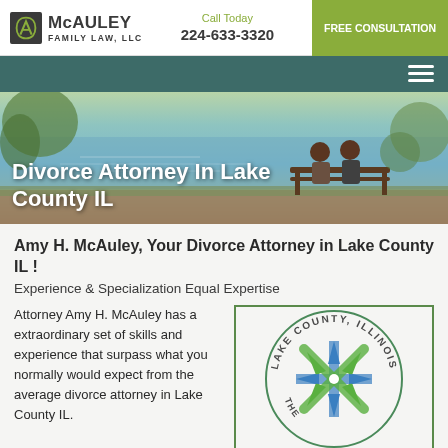McAULEY FAMILY LAW, LLC | Call Today 224-633-3320 | FREE CONSULTATION
[Figure (screenshot): Navigation bar with hamburger menu icon on dark teal background]
[Figure (photo): Hero image of two people sitting on a bench by a lake with trees, overlaid with text 'Divorce Attorney In Lake County IL']
Divorce Attorney In Lake County IL
Amy H. McAuley, Your Divorce Attorney in Lake County IL !
Experience & Specialization Equal Expertise
Attorney Amy H. McAuley has a extraordinary set of skills and experience that surpass what you normally would expect from the average divorce attorney in Lake County IL.
[Figure (logo): Lake County, Illinois official seal/logo with blue and green snowflake/star design and circular text reading LAKE COUNTY, ILLINOIS]